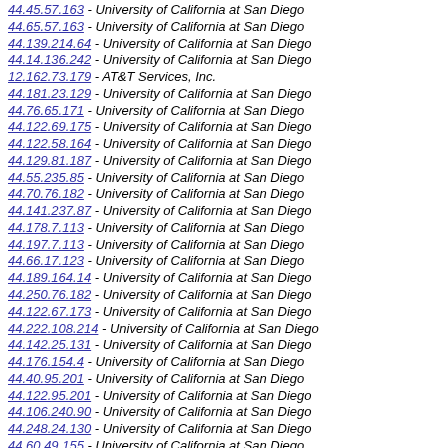44.45.57.163 - University of California at San Diego
44.65.57.163 - University of California at San Diego
44.139.214.64 - University of California at San Diego
44.14.136.242 - University of California at San Diego
12.162.73.179 - AT&T Services, Inc.
44.181.23.129 - University of California at San Diego
44.76.65.171 - University of California at San Diego
44.122.69.175 - University of California at San Diego
44.122.58.164 - University of California at San Diego
44.129.81.187 - University of California at San Diego
44.55.235.85 - University of California at San Diego
44.70.76.182 - University of California at San Diego
44.141.237.87 - University of California at San Diego
44.178.7.113 - University of California at San Diego
44.197.7.113 - University of California at San Diego
44.66.17.123 - University of California at San Diego
44.189.164.14 - University of California at San Diego
44.250.76.182 - University of California at San Diego
44.122.67.173 - University of California at San Diego
44.222.108.214 - University of California at San Diego
44.142.25.131 - University of California at San Diego
44.176.154.4 - University of California at San Diego
44.40.95.201 - University of California at San Diego
44.122.95.201 - University of California at San Diego
44.106.240.90 - University of California at San Diego
44.248.24.130 - University of California at San Diego
44.60.49.155 - University of California at San Diego
44.77.167.17 - University of California at San Diego
44.143.241.91 - University of California at San Diego
76.89.89.195 - Time Warner Cable Internet LLC